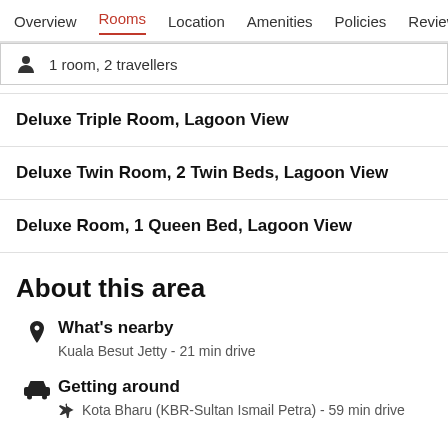Overview  Rooms  Location  Amenities  Policies  Reviews
1 room, 2 travellers
Deluxe Triple Room, Lagoon View
Deluxe Twin Room, 2 Twin Beds, Lagoon View
Deluxe Room, 1 Queen Bed, Lagoon View
About this area
What's nearby
Kuala Besut Jetty - 21 min drive
Getting around
Kota Bharu (KBR-Sultan Ismail Petra) - 59 min drive